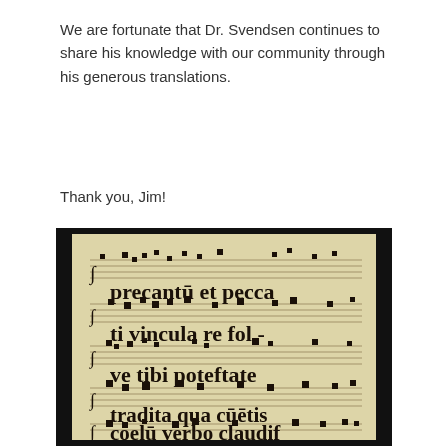We are fortunate that Dr. Svendsen continues to share his knowledge with our community through his generous translations.
Thank you, Jim!
[Figure (photo): Photograph of an antiphonal manuscript page on parchment showing medieval square notation (neumes) with Latin text: 'precantū et pecca ti vincula re fol - ve tibi poteftate tradita qua cūctis coelū verbo claudif']